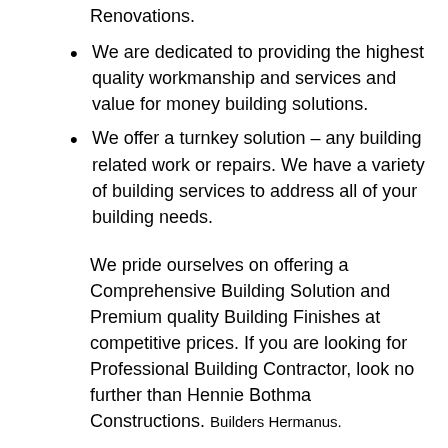Renovations.
We are dedicated to providing the highest quality workmanship and services and value for money building solutions.
We offer a turnkey solution – any building related work or repairs. We have a variety of building services to address all of your building needs.
We pride ourselves on offering a Comprehensive Building Solution and Premium quality Building Finishes at competitive prices. If you are looking for Professional Building Contractor, look no further than Hennie Bothma Constructions. Builders Hermanus.
Construction Company Onrus River